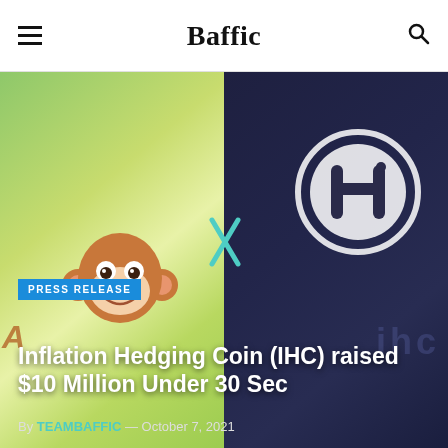Baffic
[Figure (photo): Hero image showing two panels: left panel with green/yellow background featuring a cartoon monkey face emoji and 'ApeSwap' text; right panel with dark navy background featuring the IHC (Inflation Hedging Coin) circular logo. A teal 'x' symbol appears at the center join of both panels.]
Inflation Hedging Coin (IHC) raised $10 Million Under 30 Sec
By TEAMBAFFIC — October 7, 2021